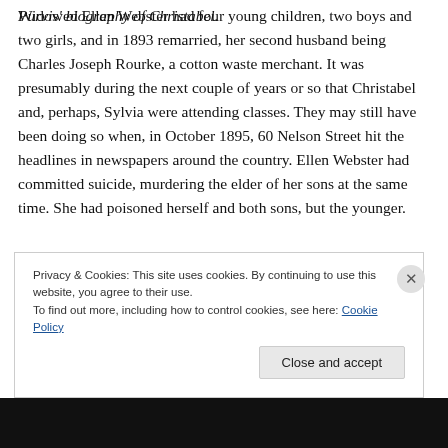Purvis' biography of Christabel.
Widowed Ellen Webster had four young children, two boys and two girls, and in 1893 remarried, her second husband being Charles Joseph Rourke, a cotton waste merchant. It was presumably during the next couple of years or so that Christabel and, perhaps, Sylvia were attending classes. They may still have been doing so when, in October 1895, 60 Nelson Street hit the headlines in newspapers around the country. Ellen Webster had committed suicide, murdering the elder of her sons at the same time. She had poisoned herself and both sons, but the younger.
Privacy & Cookies: This site uses cookies. By continuing to use this website, you agree to their use.
To find out more, including how to control cookies, see here: Cookie Policy
Close and accept